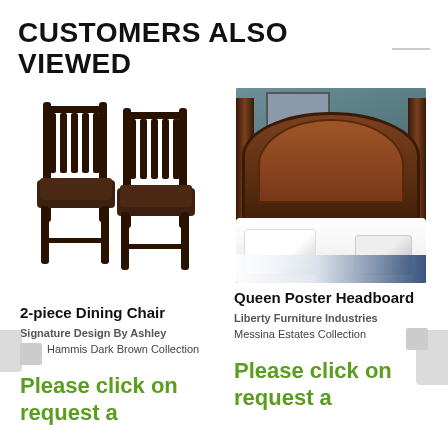CUSTOMERS ALSO VIEWED
[Figure (photo): Two dark brown wooden dining chairs with slatted backs and upholstered seats]
2-piece Dining Chair
Signature Design By Ashley
Hammis Dark Brown Collection
Please click on request a
[Figure (photo): Queen poster headboard with ornate carved dark wood frame and white bedding with blue accent throw]
Queen Poster Headboard
Liberty Furniture Industries
Messina Estates Collection
Please click on request a